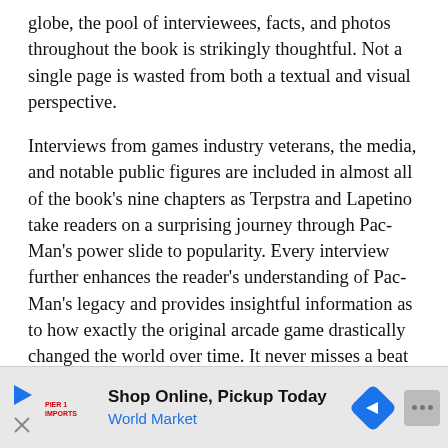globe, the pool of interviewees, facts, and photos throughout the book is strikingly thoughtful. Not a single page is wasted from both a textual and visual perspective.
Interviews from games industry veterans, the media, and notable public figures are included in almost all of the book's nine chapters as Terpstra and Lapetino take readers on a surprising journey through Pac-Man's power slide to popularity. Every interview further enhances the reader's understanding of Pac-Man's legacy and provides insightful information as to how exactly the original arcade game drastically changed the world over time. It never misses a beat on its journey to submerge readers in the past as it intricately tackles the subject from all sorts of angles such as designing, marketing, commercializing, and just being an ordinary Pac-Man fan.
[Figure (other): Advertisement banner: Shop Online, Pickup Today — World Market. Contains a play button icon, a red logo/brand mark, the headline text, a blue navigation arrow diamond icon, and a grey more-options button.]